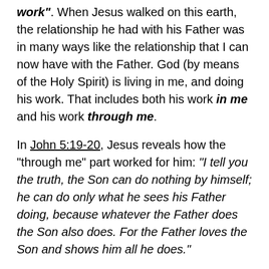work". When Jesus walked on this earth, the relationship he had with his Father was in many ways like the relationship that I can now have with the Father. God (by means of the Holy Spirit) is living in me, and doing his work. That includes both his work in me and his work through me.
In John 5:19-20, Jesus reveals how the “through me” part worked for him: “I tell you the truth, the Son can do nothing by himself; he can do only what he sees his Father doing, because whatever the Father does the Son also does. For the Father loves the Son and shows him all he does.”
Application
When praying for others, I often just begin praying without giving thought to what God might have in mind for the situation. I suspect things would go a lot better if first I